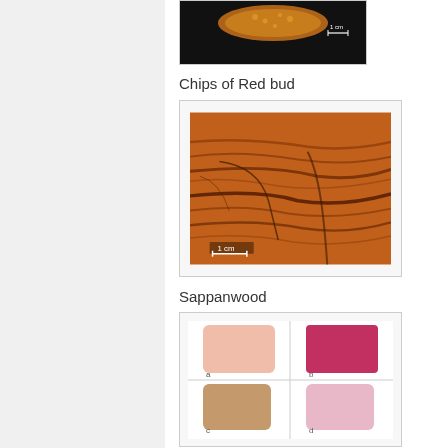[Figure (photo): Partial view of a botanical specimen (top portion, orange/brown textured object on black background with 1cm scale bar)]
Chips of Red bud
[Figure (photo): Chips of Red bud: close-up photograph of reddish-brown wood chips/bark with fibrous texture, with a 1 cm scale bar at bottom left]
Sappanwood
[Figure (photo): Sappanwood color swatches: four paint/pigment samples arranged in a 2x2 grid labeled a (pale peach), b (deep red/magenta), c (tan/brown), d (pale pink)]